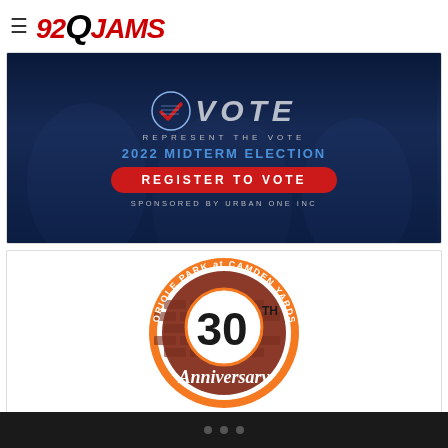≡ 92Q JAMS
[Figure (infographic): Vote / Represent the Vote banner ad. 2022 Midterm Election. Register To Vote. Sponsored by Urban One Inc.]
[Figure (logo): Oriole Park at Camden Yards 30th Anniversary circular logo with brick background]